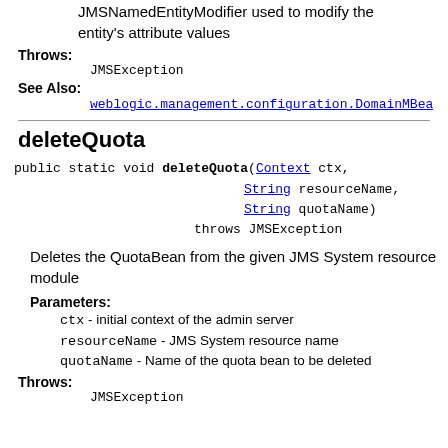JMSNamedEntityModifier used to modify the entity's attribute values
Throws: JMSException
See Also: weblogic.management.configuration.DomainMBean
deleteQuota
public static void deleteQuota(Context ctx, String resourceName, String quotaName) throws JMSException
Deletes the QuotaBean from the given JMS System resource module
Parameters: ctx - initial context of the admin server; resourceName - JMS System resource name; quotaName - Name of the quota bean to be deleted
Throws: JMSException